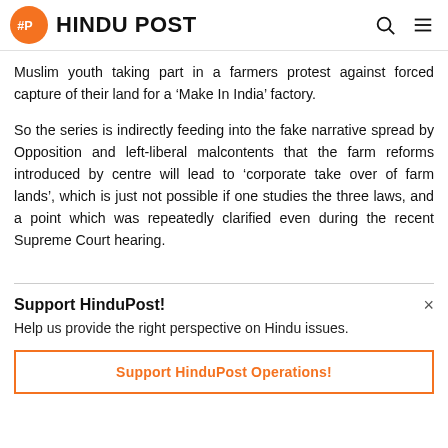HINDU POST
Muslim youth taking part in a farmers protest against forced capture of their land for a ‘Make In India’ factory.
So the series is indirectly feeding into the fake narrative spread by Opposition and left-liberal malcontents that the farm reforms introduced by centre will lead to ‘corporate take over of farm lands’, which is just not possible if one studies the three laws, and a point which was repeatedly clarified even during the recent Supreme Court hearing.
Support HinduPost!
Help us provide the right perspective on Hindu issues.
Support HinduPost Operations!